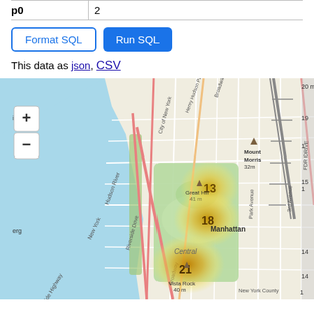| p0 |  |
| --- | --- |
| p0 | 2 |
Format SQL  Run SQL
This data as json, CSV
[Figure (map): Interactive map of Manhattan, New York showing a heatmap with cluster points labeled 13, 18, and 21 near Central Park area. The map shows the Hudson River to the west, with street grid, parks, and landmarks including Great Hill (41m), Vista Rock (40m), Mount Morris (32m). Zoom controls (+/-) visible in top-left.]